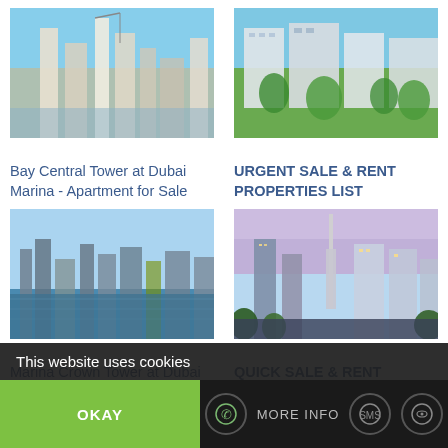[Figure (photo): Bay Central Tower at Dubai Marina - modern high-rise towers under blue sky]
Bay Central Tower at Dubai Marina - Apartment for Sale
[Figure (photo): Aerial view of apartment buildings with green landscaping]
URGENT SALE & RENT PROPERTIES LIST
[Figure (photo): Marina Crown Tower at Dubai Marina - skyline view from the water]
Marina Crown Tower at Dubai Marina - Apartment for Sale
[Figure (photo): Dubai city skyline at dusk with tall towers including Burj Khalifa]
QUICK SALE & RENT PROPERTIES LIST
This website uses cookies
OKAY
MORE INFO